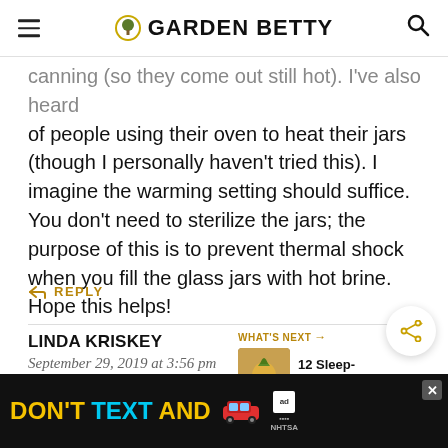GARDEN BETTY
canning (so they come out still hot). I've also heard of people using their oven to heat their jars (though I personally haven't tried this). I imagine the warming setting should suffice. You don't need to sterilize the jars; the purpose of this is to prevent thermal shock when you fill the glass jars with hot brine. Hope this helps!
REPLY
LINDA KRISKEY
September 29, 2019 at 3:56 pm
WHAT'S NEXT → 12 Sleep-Promoting...
[Figure (screenshot): DON'T TEXT AND [car emoji] advertisement banner with ad choices and NHTSA logo]
I a... m trying the...